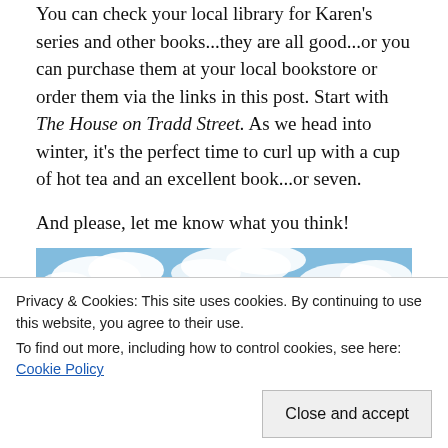You can check your local library for Karen's series and other books...they are all good...or you can purchase them at your local bookstore or order them via the links in this post. Start with The House on Tradd Street. As we head into winter, it's the perfect time to curl up with a cup of hot tea and an excellent book...or seven.
And please, let me know what you think!
[Figure (photo): Photograph of a brick building rooftop against a blue sky with white clouds]
Privacy & Cookies: This site uses cookies. By continuing to use this website, you agree to their use. To find out more, including how to control cookies, see here: Cookie Policy